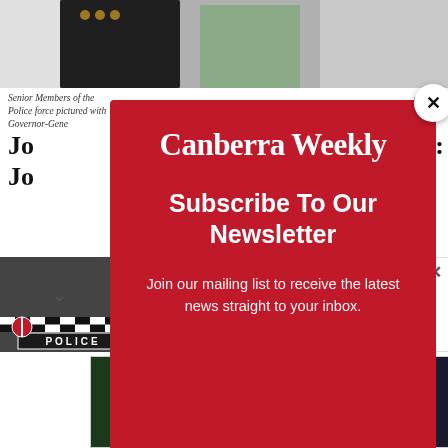[Figure (photo): Top of page showing people in uniform, partially visible behind modal overlay]
Senior Members of the Police force pictured with Governor-General of NSW.
Jo... ':  Jo...
AA
[Figure (screenshot): Canberra Weekly newsletter subscription modal overlay on red background with close button. Contains logo 'Canberra Weekly', headline 'Subscribe To Our Newsletter', and body text 'Join our mailing list to receive the latest news straight to your inbox.']
Reti... on of co... e
[Figure (photo): Police car with POLICE text visible, notification bar for article 'Missing 33-year-old woman's body found in Belconnen | Canberra Weekly']
Missing 33-year-old woman's body found in Belconnen | Canberra Weekly
[Figure (infographic): Advertisement banner for Canberra Disability Expo featuring Ryley Batt, FRI 2nd SAT 3rd SEP 2022, Free Entry Register Now]